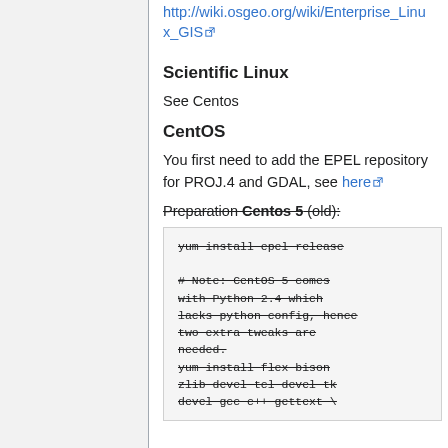http://wiki.osgeo.org/wiki/Enterprise_Linux_GIS
Scientific Linux
See Centos
CentOS
You first need to add the EPEL repository for PROJ.4 and GDAL, see here
Preparation Centos 5 (old):
yum install epel release
# Note: CentOS 5 comes with Python 2.4 which lacks python config, hence two extra tweaks are needed.
yum install flex bison zlib devel tcl devel tk devel gcc c++ gettext \